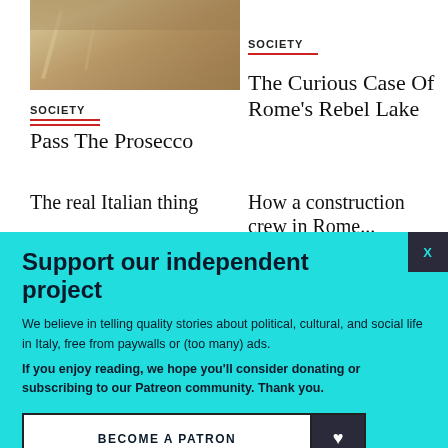[Figure (photo): Photo of a rainy street scene with golden/warm tones]
SOCIETY
Pass The Prosecco
The real Italian thing
SOCIETY
The Curious Case Of Rome's Rebel Lake
How a construction crew in Rome...
Support our independent project
We believe in telling quality stories about political, cultural, and social life in Italy, free from paywalls or (too many) ads.
If you enjoy reading, we hope you'll consider donating or subscribing to our Patreon community. Thank you.
BECOME A PATRON
DONATE
Follow us: Facebook Instagram Twitter